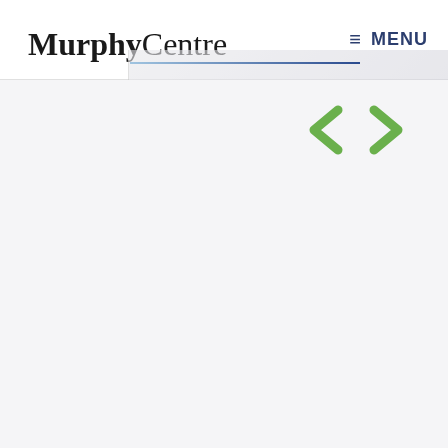MurphyCentre  ☰ MENU
[Figure (screenshot): Navigation arrows: left chevron and right chevron in green, used for carousel or slideshow navigation]